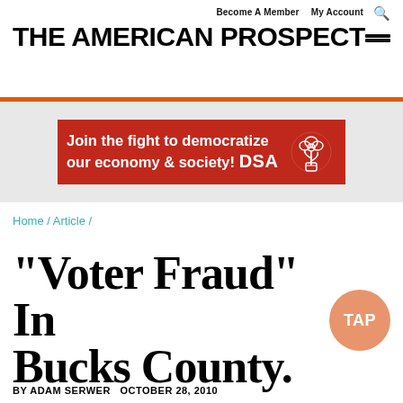Become A Member  My Account  🔍  THE AMERICAN PROSPECT
[Figure (infographic): DSA advertisement banner: 'Join the fight to democratize our economy & society! DSA' with a red background and a DSA rose logo on the right side.]
Home / Article /
"Voter Fraud" In Bucks County.
BY ADAM SERWER  OCTOBER 28, 2010